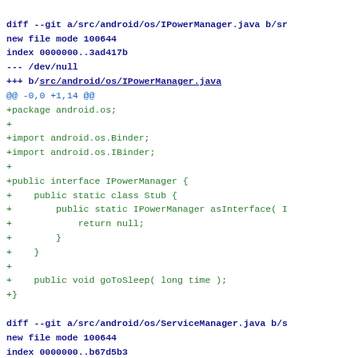diff --git a/src/android/os/IPowerManager.java b/src/...
new file mode 100644
index 0000000..3ad417b
--- /dev/null
+++ b/src/android/os/IPowerManager.java
@@ -0,0 +1,14 @@
+package android.os;
+
+import android.os.Binder;
+import android.os.IBinder;
+
+public interface IPowerManager {
+    public static class Stub {
+        public static IPowerManager asInterface( I
+            return null;
+        }
+    }
+
+    public void goToSleep( long time );
+}
diff --git a/src/android/os/ServiceManager.java b/s...
new file mode 100644
index 0000000..b67d5b3
--- /dev/null
+++ b/src/android/os/ServiceManager.java
@@ -0,0 +1,7 @@
+package android.os;
+